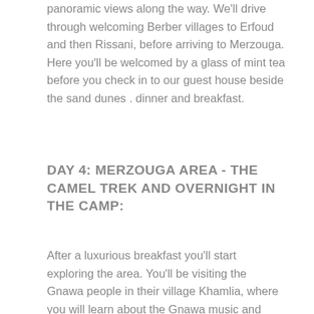panoramic views along the way. We'll drive through welcoming Berber villages to Erfoud and then Rissani, before arriving to Merzouga. Here you'll be welcomed by a glass of mint tea before you check in to our guest house beside the sand dunes . dinner and breakfast.
DAY 4: MERZOUGA AREA - THE CAMEL TREK AND OVERNIGHT IN THE CAMP:
After a luxurious breakfast you'll start exploring the area. You'll be visiting the Gnawa people in their village Khamlia, where you will learn about the Gnawa music and their